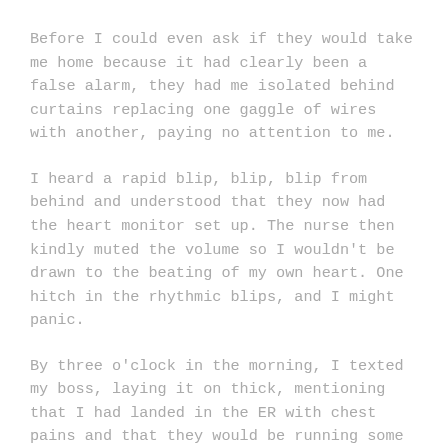Before I could even ask if they would take me home because it had clearly been a false alarm, they had me isolated behind curtains replacing one gaggle of wires with another, paying no attention to me.
I heard a rapid blip, blip, blip from behind and understood that they now had the heart monitor set up. The nurse then kindly muted the volume so I wouldn't be drawn to the beating of my own heart. One hitch in the rhythmic blips, and I might panic.
By three o'clock in the morning, I texted my boss, laying it on thick, mentioning that I had landed in the ER with chest pains and that they would be running some tests and that I wouldn't be into work.